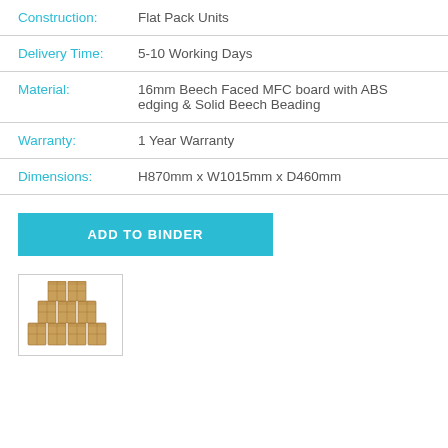Construction: Flat Pack Units
Delivery Time: 5-10 Working Days
Material: 16mm Beech Faced MFC board with ABS edging & Solid Beech Beading
Warranty: 1 Year Warranty
Dimensions: H870mm x W1015mm x D460mm
ADD TO BINDER
[Figure (photo): Thumbnail photo of flat pack cardboard box units stacked in a stepped arrangement]